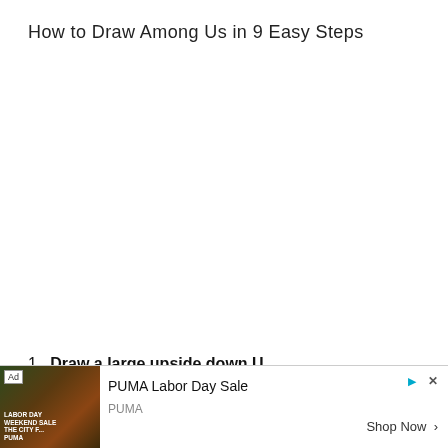How to Draw Among Us in 9 Easy Steps
1. Draw a large upside down U.
[Figure (other): Advertisement banner for PUMA Labor Day Sale showing a person in sportswear with text 'PUMA Labor Day Sale', 'PUMA', 'Shop Now' button, and Ad badge]